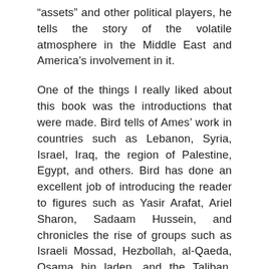“assets” and other political players, he tells the story of the volatile atmosphere in the Middle East and America’s involvement in it.
One of the things I really liked about this book was the introductions that were made. Bird tells of Ames’ work in countries such as Lebanon, Syria, Israel, Iraq, the region of Palestine, Egypt, and others. Bird has done an excellent job of introducing the reader to figures such as Yasir Arafat, Ariel Sharon, Sadaam Hussein, and chronicles the rise of groups such as Israeli Mossad, Hezbollah, al-Qaeda, Osama bin laden, and the Taliban. “The Good Spy” is a great work. Intriguing. Informative. Prophetic. Honest. This is a book all Americans should read. It tells how arrived at where we are today and gives great